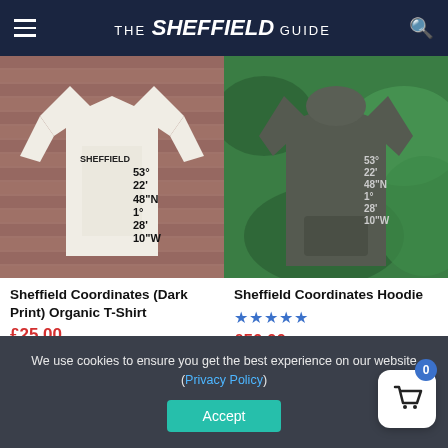THE Sheffield GUIDE
[Figure (photo): Man wearing a white Sheffield Coordinates t-shirt with coordinates 53° 22' 48"N 1° 28' 10"W printed on it, standing in front of a brick wall.]
[Figure (photo): Woman wearing a dark grey Sheffield Coordinates hoodie with coordinates 53° 22' 48"N 1° 28' 10"W printed on it, standing in front of green foliage.]
Sheffield Coordinates (Dark Print) Organic T-Shirt
£25.00
Sheffield Coordinates Hoodie
£50.00
We use cookies to ensure you get the best experience on our website (Privacy Policy)